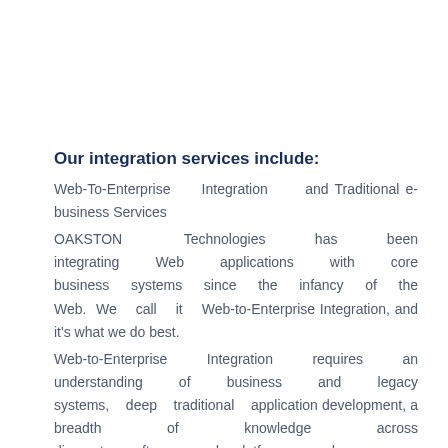Our integration services include:
Web-To-Enterprise Integration and Traditional e-business Services
OAKSTON Technologies has been integrating Web applications with core business systems since the infancy of the Web. We call it Web-to-Enterprise Integration, and it's what we do best.
Web-to-Enterprise Integration requires an understanding of business and legacy systems, deep traditional application development, a breadth of knowledge across disparate software and platforms, and